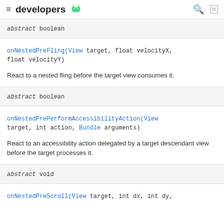developers (android logo)
abstract boolean
onNestedPreFling(View target, float velocityX, float velocityY)
React to a nested fling before the target view consumes it.
abstract boolean
onNestedPrePerformAccessibilityAction(View target, int action, Bundle arguments)
React to an accessibility action delegated by a target descendant view before the target processes it.
abstract void
onNestedPreScroll(View target, int dx, int dy,